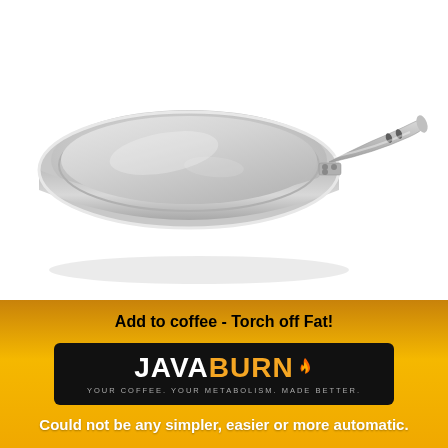[Figure (photo): Stainless steel frying pan / skillet with long handle, viewed from a slightly elevated angle against a white background. The pan has high straight sides, a polished silver finish, and a riveted stainless steel handle.]
Add to coffee - Torch off Fat!
[Figure (logo): JAVABURN product logo on a black elongated bar/packet. Text reads JAVA in white and BURN in orange with a flame icon. Tagline: YOUR COFFEE. YOUR METABOLISM. MADE BETTER.]
Could not be any simpler, easier or more automatic.